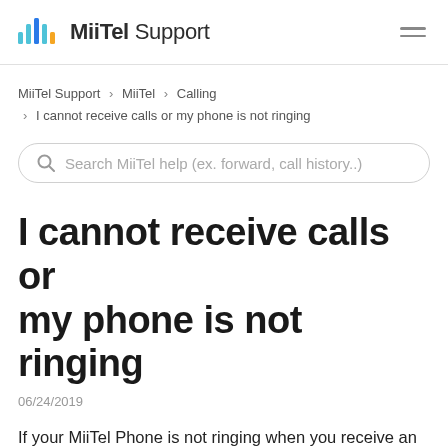MiiTel Support
MiiTel Support > MiiTel > Calling > I cannot receive calls or my phone is not ringing
[Figure (screenshot): Search bar with placeholder text: Search MiiTel help (ex. forward, call history..)]
I cannot receive calls or my phone is not ringing
06/24/2019
If your MiiTel Phone is not ringing when you receive an incoming call, the following may be the cause of